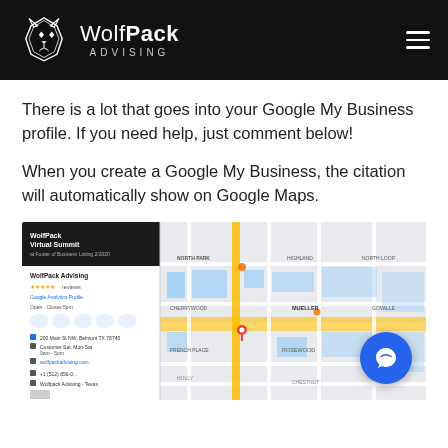WolfPack Advising
There is a lot that goes into your Google My Business profile. If you need help, just comment below!
When you create a Google My Business, the citation will automatically show on Google Maps.
[Figure (screenshot): Screenshot of Google Maps showing WolfPack Advising listing on the left panel and a Google Maps view on the right with a red location pin.]